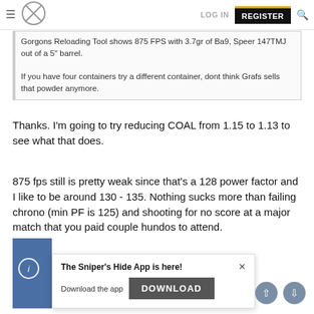LOG IN | REGISTER
Gorgons Reloading Tool shows 875 FPS with 3.7gr of Ba9, Speer 147TMJ out of a 5" barrel.

If you have four containers try a different container, dont think Grafs sells that powder anymore.
Thanks. I'm going to try reducing COAL from 1.15 to 1.13 to see what that does.
875 fps still is pretty weak since that's a 128 power factor and I like to be around 130 - 135. Nothing sucks more than failing chrono (min PF is 125) and shooting for no score at a major match that you paid couple hundos to attend.
[Figure (screenshot): App download popup: 'The Sniper's Hide App is here!' with DOWNLOAD button and close X]